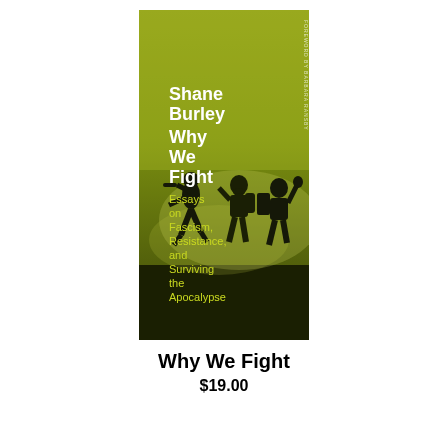[Figure (illustration): Book cover of 'Why We Fight: Essays on Fascism, Resistance, and Surviving the Apocalypse' by Shane Burley. Olive/yellow-green tinted photograph of silhouetted protesters in action against a smoky background. Author name 'Shane Burley' in white bold text, book title 'Why We Fight' in white bold text, subtitle 'Essays on Fascism, Resistance, and Surviving the Apocalypse' in olive/yellow-green text. Foreword by Barbara Ransby noted vertically on the right spine area.]
Why We Fight
$19.00